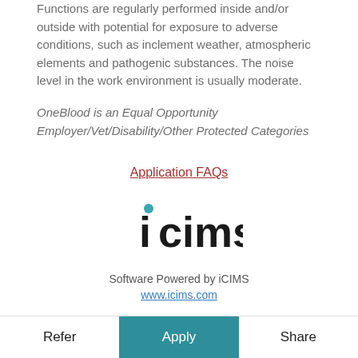Functions are regularly performed inside and/or outside with potential for exposure to adverse conditions, such as inclement weather, atmospheric elements and pathogenic substances. The noise level in the work environment is usually moderate.
OneBlood is an Equal Opportunity Employer/Vet/Disability/Other Protected Categories
Application FAQs
[Figure (logo): iCIMS logo with teal dot above lowercase 'i']
Software Powered by iCIMS
www.icims.com
Refer | Apply | Share